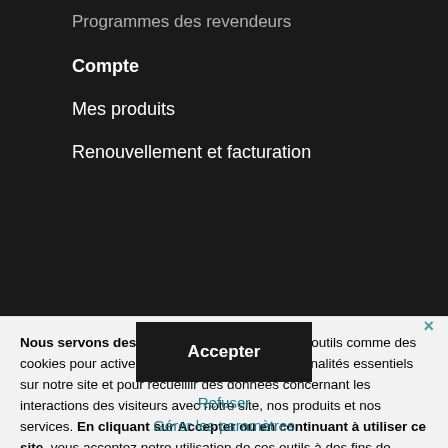Programmes des revendeurs
Compte
Mes produits
Renouvellement et facturation
Nous servons des cookies. Nous utilisons des outils comme des cookies pour activer des services et des fonctionnalités essentiels sur notre site et pour recueillir des données concernant les interactions des visiteurs avec notre site, nos produits et nos services. En cliquant sur Accepter ou en continuant à utiliser ce site, vous acceptez notre utilisation de ces outils à des fins de publicité et d'analyse.
En savoir plus
Accepter
Refuser
Gérer les paramètres